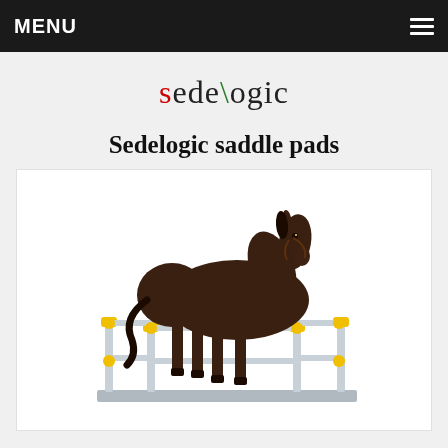MENU
[Figure (logo): Sedelogic logo with stylized text: red 's', dark letters 'ede', green backslash '\', 'ogic' in dark]
Sedelogic saddle pads
[Figure (photo): A dark brown horse standing on a metal/aluminum frame structure with yellow accents, on a white background]